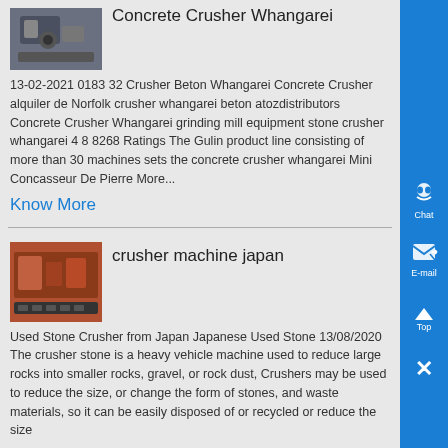Concrete Crusher Whangarei
[Figure (photo): Industrial crusher machine photo thumbnail]
13-02-2021 0183 32 Crusher Beton Whangarei Concrete Crusher alquiler de Norfolk crusher whangarei beton atozdistributors Concrete Crusher Whangarei grinding mill equipment stone crusher whangarei 4 8 8268 Ratings The Gulin product line consisting of more than 30 machines sets the concrete crusher whangarei Mini Concasseur De Pierre More...
Know More
crusher machine japan
[Figure (photo): Industrial crusher machine japan photo thumbnail]
Used Stone Crusher from Japan Japanese Used Stone 13/08/2020 The crusher stone is a heavy vehicle machine used to reduce large rocks into smaller rocks, gravel, or rock dust, Crushers may be used to reduce the size, or change the form of stones, and waste materials, so it can be easily disposed of or recycled or reduce the size